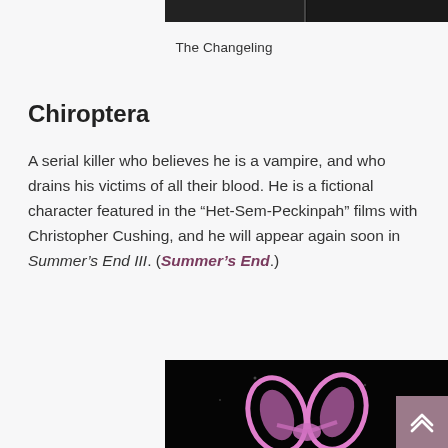[Figure (photo): Top cropped black and white photo, partially visible at top of page]
The Changeling
Chiroptera
A serial killer who believes he is a vampire, and who drains his victims of all their blood. He is a fictional character featured in the “Het-Sem-Peckinpah” films with Christopher Cushing, and he will appear again soon in Summer’s End III. (Summer’s End.)
[Figure (photo): Close-up photo of pink/purple bat ears against a dark black background]